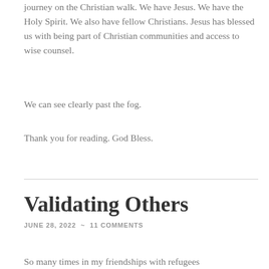journey on the Christian walk. We have Jesus. We have the Holy Spirit. We also have fellow Christians. Jesus has blessed us with being part of Christian communities and access to wise counsel.
We can see clearly past the fog.
Thank you for reading. God Bless.
Validating Others
JUNE 28, 2022  ~  11 COMMENTS
So many times in my friendships with refugees